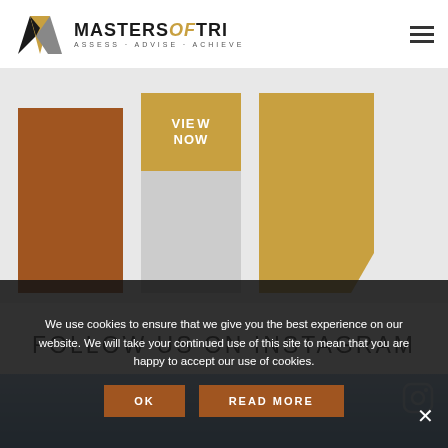[Figure (logo): Masters of Tri logo with geometric M-shape icon and text 'MASTERSOFTRI — ASSESS · ADVISE · ACHIEVE']
[Figure (infographic): Three decorative banner cards: a brown rectangle, a gray rectangle with gold 'VIEW NOW' overlay, and a gold pentagon-shaped card on a light gray background]
FOLLOW US ON INSTAGRAM
[Figure (photo): Partial Instagram feed strip with blue-toned background and camera icon]
We use cookies to ensure that we give you the best experience on our website. We will take your continued use of this site to mean that you are happy to accept our use of cookies.
OK
READ MORE